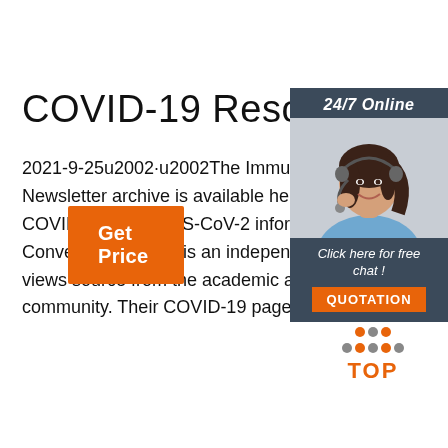COVID-19 Resources
2021-9-25u2002·u2002The Immunopaedia Newsletter archive is available here with COVID-19 and SARS-CoV-2 information. Conversation Africa is an independent news & views source from the academic and research community. Their COVID-19 page …
[Figure (infographic): 24/7 Online support banner with photo of woman wearing headset and buttons 'Click here for free chat!' and 'QUOTATION']
[Figure (logo): Orange and grey TOP logo with upward-pointing triangle made of dots above the text TOP in orange]
Get Price